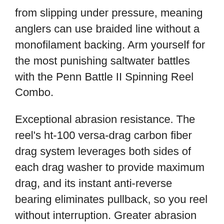from slipping under pressure, meaning anglers can use braided line without a monofilament backing. Arm yourself for the most punishing saltwater battles with the Penn Battle II Spinning Reel Combo.
Exceptional abrasion resistance. The reel's ht-100 versa-drag carbon fiber drag system leverages both sides of each drag washer to provide maximum drag, and its instant anti-reverse bearing eliminates pullback, so you reel without interruption. Greater abrasion resistance - of kastking braided fishing line decreases the likelihood of losing your "big one"! KastKing SuperPower Braid line's powers are.
. Super! Ultra-high sensitivity & zero stretch - for superior hook setting that increases your catch ratio.